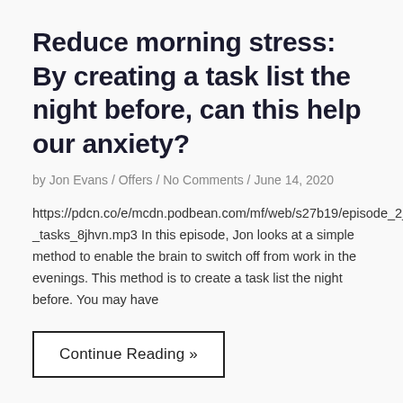Reduce morning stress: By creating a task list the night before, can this help our anxiety?
by Jon Evans / Offers / No Comments / June 14, 2020
https://pdcn.co/e/mcdn.podbean.com/mf/web/s27b19/episode_2_final_2-_tasks_8jhvn.mp3 In this episode, Jon looks at a simple method to enable the brain to switch off from work in the evenings. This method is to create a task list the night before. You may have
Continue Reading »
[Figure (illustration): Orange circle with white pause/play icon at the bottom of the page, partially cropped]